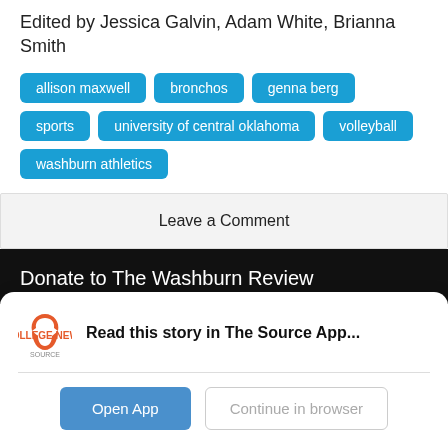Edited by Jessica Galvin, Adam White, Brianna Smith
allison maxwell
bronchos
genna berg
sports
university of central oklahoma
volleyball
washburn athletics
Leave a Comment
Donate to The Washburn Review
Read this story in The Source App...
Open App
Continue in browser